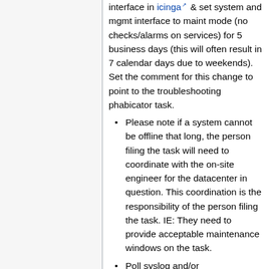interface in icinga & set system and mgmt interface to maint mode (no checks/alarms on services) for 5 business days (this will often result in 7 calendar days due to weekends). Set the comment for this change to point to the troubleshooting phabicator task.
Please note if a system cannot be offline that long, the person filing the task will need to coordinate with the on-site engineer for the datacenter in question. This coordination is the responsibility of the person filing the task. IE: They need to provide acceptable maintenance windows on the task.
Poll syslog and/or /var/log/messages for error messages & paste them into